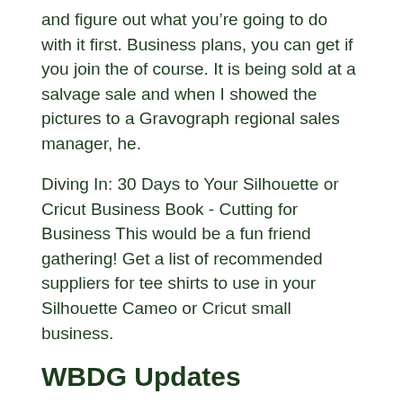and figure out what you’re going to do with it first. Business plans, you can get if you join the of course. It is being sold at a salvage sale and when I showed the pictures to a Gravograph regional sales manager, he.
Diving In: 30 Days to Your Silhouette or Cricut Business Book - Cutting for Business This would be a fun friend gathering! Get a list of recommended suppliers for tee shirts to use in your Silhouette Cameo or Cricut small business.
WBDG Updates
AAA Precision Turntables We manufacture the highest quality turntables in the world for modelers that demand superior arteensevilla.com in all scales, all sizes, feature prototype operation, infra-red indexing, 98% metal construction. ABG Model Trains O Scale Product catalog